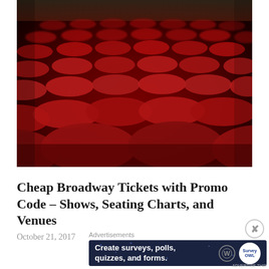[Figure (photo): Close-up photograph of rows of red velvet theater seats in a Broadway-style venue, viewed from a low angle showing multiple rows receding into the background.]
Cheap Broadway Tickets with Promo Code – Shows, Seating Charts, and Venues
October 21, 2017
Advertisements
[Figure (screenshot): Advertisement banner with dark navy background showing text 'Create surveys, polls, quizzes, and forms.' with WordPress logo and a circular Survey Owl badge icon.]